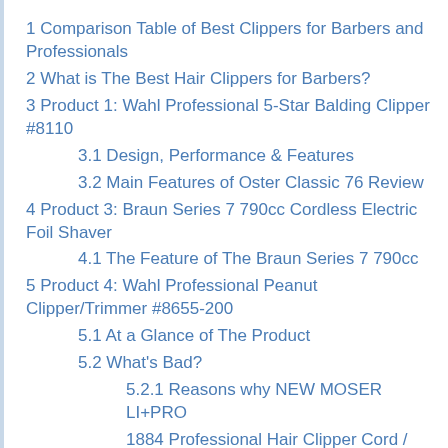1 Comparison Table of Best Clippers for Barbers and Professionals
2 What is The Best Hair Clippers for Barbers?
3 Product 1: Wahl Professional 5-Star Balding Clipper #8110
3.1 Design, Performance & Features
3.2 Main Features of Oster Classic 76 Review
4 Product 3: Braun Series 7 790cc Cordless Electric Foil Shaver
4.1 The Feature of The Braun Series 7 790cc
5 Product 4: Wahl Professional Peanut Clipper/Trimmer #8655-200
5.1 At a Glance of The Product
5.2 What's Bad?
5.2.1 Reasons why NEW MOSER LI+PRO 1884 Professional Hair Clipper Cord /